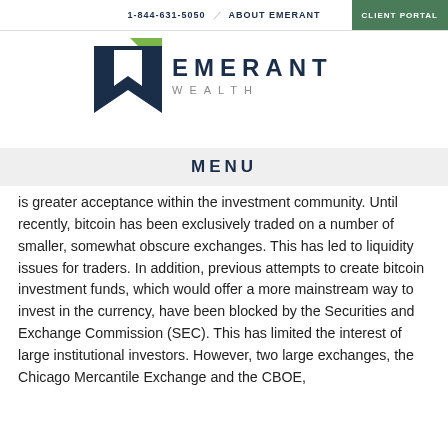1-844-631-5050 / ABOUT EMERANT | CLIENT PORTAL
[Figure (logo): Emerant Wealth logo — geometric arrow icon in dark navy and green, with text EMERANT in dark navy and WEALTH in gray below]
MENU
is greater acceptance within the investment community. Until recently, bitcoin has been exclusively traded on a number of smaller, somewhat obscure exchanges. This has led to liquidity issues for traders. In addition, previous attempts to create bitcoin investment funds, which would offer a more mainstream way to invest in the currency, have been blocked by the Securities and Exchange Commission (SEC). This has limited the interest of large institutional investors. However, two large exchanges, the Chicago Mercantile Exchange and the CBOE,